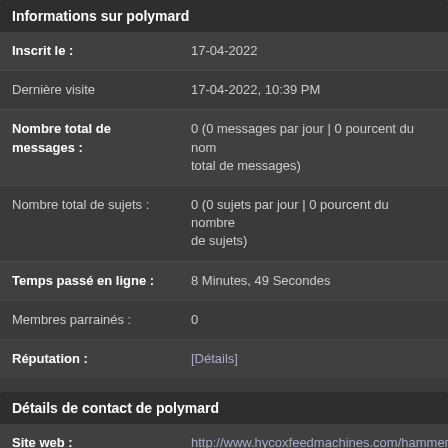Informations sur polymard
| Inscrit le : | 17-04-2022 |
| Dernière visite | 17-04-2022, 10:39 PM |
| Nombre total de messages : | 0 (0 messages par jour | 0 pourcent du nombre total de messages) |
| Nombre total de sujets : | 0 (0 sujets par jour | 0 pourcent du nombre de sujets) |
| Temps passé en ligne : | 8 Minutes, 49 Secondes |
| Membres parrainés : | 0 |
| Réputation : | [Détails] |
Détails de contact de polymard
| Site web : | http://www.hycoxfeedmachines.com/hammer |